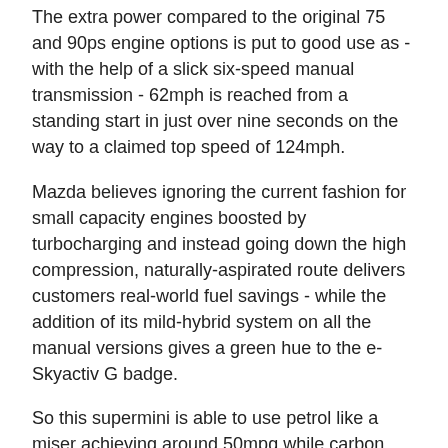The extra power compared to the original 75 and 90ps engine options is put to good use as - with the help of a slick six-speed manual transmission - 62mph is reached from a standing start in just over nine seconds on the way to a claimed top speed of 124mph.
Mazda believes ignoring the current fashion for small capacity engines boosted by turbocharging and instead going down the high compression, naturally-aspirated route delivers customers real-world fuel savings - while the addition of its mild-hybrid system on all the manual versions gives a green hue to the e-Skyactiv G badge.
So this supermini is able to use petrol like a miser achieving around 50mpg while carbon dioxide emissions are low at 113g/km.
Life behind the multi-function steering wheel is a lot of fun as the Mazda2 is a pleasure to drive with plenty of grip, informative steering and agile handling. The ride is comfortable with the suspension absorbing most of the humps and hollows passing for roads these days.
Refinement is good enabling the supermini to move with ease from the urban jungle to the motorway as little wind or road noise make it into the cabin.